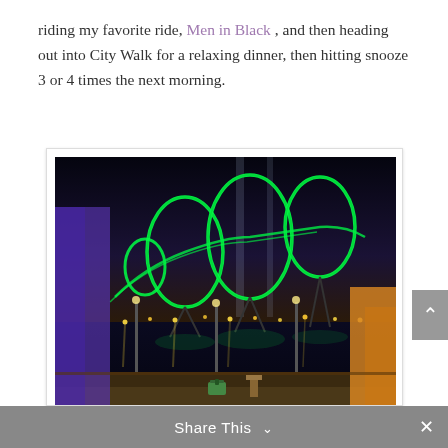riding my favorite ride, Men in Black , and then heading out into City Walk for a relaxing dinner, then hitting snooze 3 or 4 times the next morning.
[Figure (photo): Night-time photo of the Incredible Hulk roller coaster at Universal's Islands of Adventure, with glowing green track loops over a lake reflecting the lights.]
Someday soon I'll see this view on my way out of Islands of Adventure...
Share This